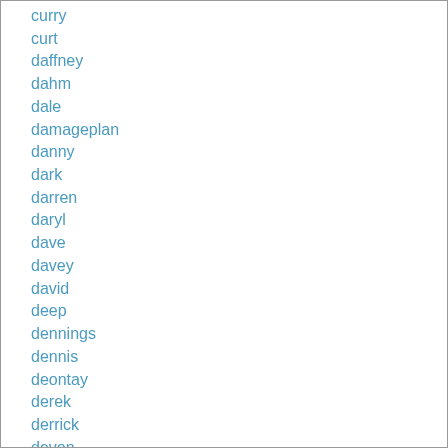curry
curt
daffney
dahm
dale
damageplan
danny
dark
darren
daryl
dave
davey
david
deep
dennings
dennis
deontay
derek
derrick
devon
diamond
diane
dick
didley